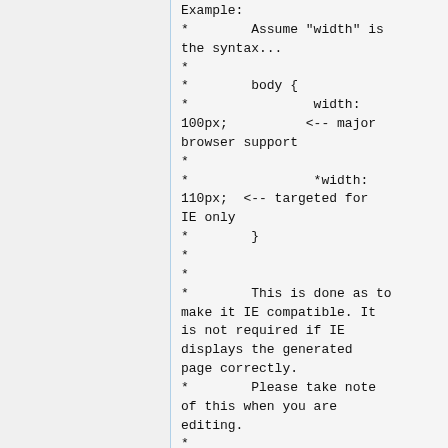Example:
*        Assume "width" is the syntax...
*
*        body {
*                width: 100px;          <-- major browser support
*
*                *width: 110px;  <-- targeted for IE only
*        }
*
*
*        This is done as to make it IE compatible. It is not required if IE displays the generated page correctly.
*        Please take note of this when you are editing.
*
* ----------------------